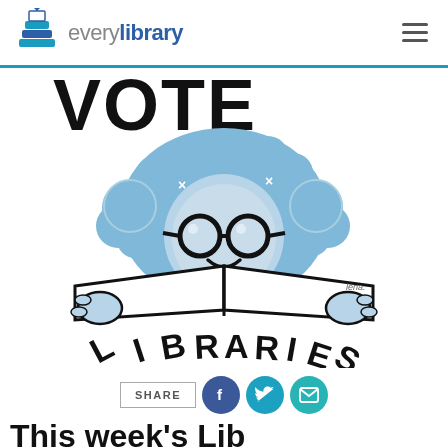everylibrary
[Figure (illustration): Cartoon illustration of a child with blue curly hair and round glasses reading a book, surrounded by the text 'VOTE' arching above and 'LIBRARIES' arching below in bold black letters. Vote Libraries graphic for EveryLibrary campaign.]
SHARE
This week's Lib